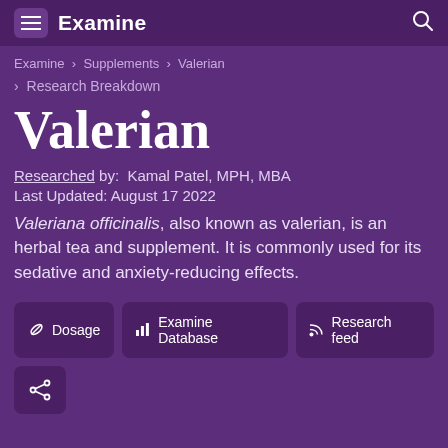Examine
Examine > Supplements > Valerian
> Research Breakdown
Valerian
Researched by: Kamal Patel, MPH, MBA
Last Updated: August 17 2022
Valeriana officinalis, also known as valerian, is an herbal tea and supplement. It is commonly used for its sedative and anxiety-reducing effects.
Dosage | Examine Database | Research feed | Share